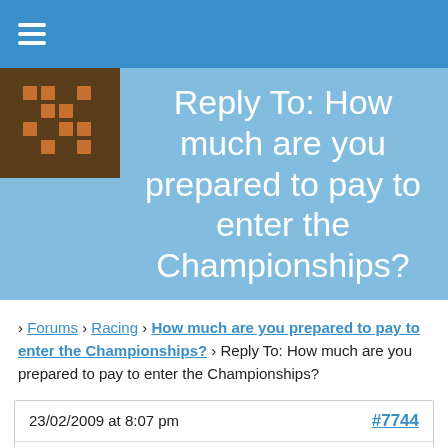≡ (navigation menu)
Reply To: How much are you prepared to pay to enter the Championships?
› Forums › Racing › How much are you prepared to pay to enter the Championships? › Reply To: How much are you prepared to pay to enter the Championships?
23/02/2009 at 8:07 pm   #7744
Gordon Davies
Member

Firstly – let me declare an interest. I was